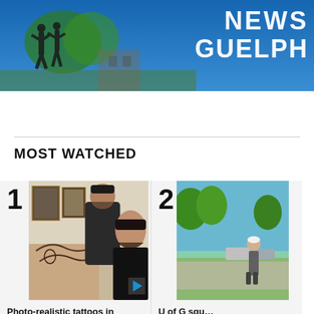[Figure (photo): News Guelph banner with statue silhouette against blue sky and text 'NEWS GUELPH']
MOST WATCHED
[Figure (photo): Item 1: Photo showing two tattooed men in a tattoo parlor with artwork on walls, play button overlay. Caption: Photo-realistic tattoos in Kitchener]
[Figure (photo): Item 2: Partial image of outdoor scene with person. Caption: U of G squ... number in...]